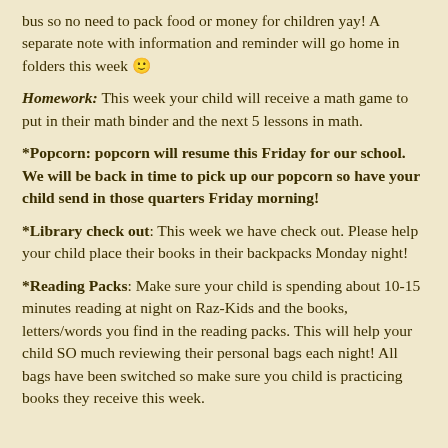bus so no need to pack food or money for children yay! A separate note with information and reminder will go home in folders this week 🙂
Homework: This week your child will receive a math game to put in their math binder and the next 5 lessons in math.
*Popcorn: popcorn will resume this Friday for our school. We will be back in time to pick up our popcorn so have your child send in those quarters Friday morning!
*Library check out: This week we have check out. Please help your child place their books in their backpacks Monday night!
*Reading Packs: Make sure your child is spending about 10-15 minutes reading at night on Raz-Kids and the books, letters/words you find in the reading packs. This will help your child SO much reviewing their personal bags each night! All bags have been switched so make sure you child is practicing books they receive this week.